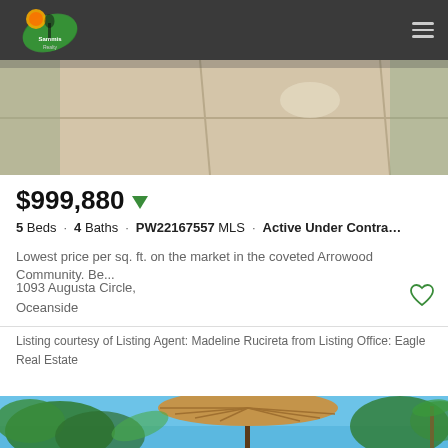Sammis Realty logo and navigation
[Figure (photo): Concrete driveway/patio area with some greenery visible at edges, beige/tan tones]
$999,880
5 Beds · 4 Baths · PW22167557 MLS · Active Under Contra...
Lowest price per sq. ft. on the market in the coveted Arrowood Community. Be...
1093 Augusta Circle,
Oceanside
Listing courtesy of Listing Agent: Madeline Rucireta from Listing Office: Eagle Real Estate
[Figure (photo): Outdoor patio area with a large tan patio umbrella against a bright blue sky, surrounded by tropical plants and palm trees]